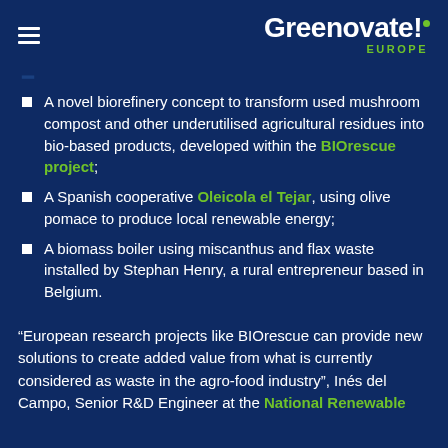Greenovate! EUROPE
A novel biorefinery concept to transform used mushroom compost and other underutilised agricultural residues into bio-based products, developed within the BIOrescue project;
A Spanish cooperative Oleicola el Tejar, using olive pomace to produce local renewable energy;
A biomass boiler using miscanthus and flax waste installed by Stephan Henry, a rural entrepreneur based in Belgium.
“European research projects like BIOrescue can provide new solutions to create added value from what is currently considered as waste in the agro-food industry”, Inés del Campo, Senior R&D Engineer at the National Renewable